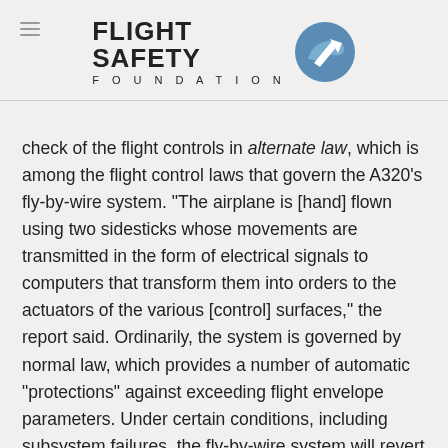Flight Safety Foundation
check of the flight controls in alternate law, which is among the flight control laws that govern the A320's fly-by-wire system. "The airplane is [hand] flown using two sidesticks whose movements are transmitted in the form of electrical signals to computers that transform them into orders to the actuators of the various [control] surfaces," the report said. Ordinarily, the system is governed by normal law, which provides a number of automatic "protections" against exceeding flight envelope parameters. Under certain conditions, including subsystem failures, the fly-by-wire system will revert to alternate law or to direct law, both of which provide fewer protections. For example, a dual air data computer failure will cause the system to revert from normal law to alternate law; a triple air data computer